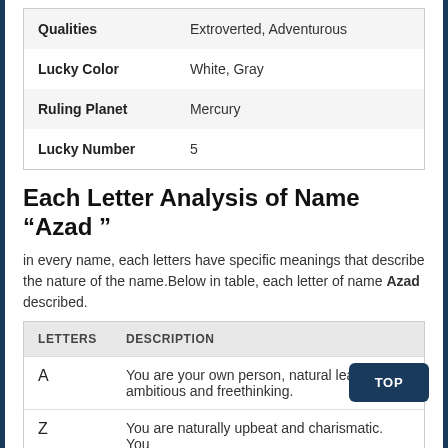|  |  |
| --- | --- |
| Qualities | Extroverted, Adventurous |
| Lucky Color | White, Gray |
| Ruling Planet | Mercury |
| Lucky Number | 5 |
Each Letter Analysis of Name “Azad ”
in every name, each letters have specific meanings that describe the nature of the name.Below in table, each letter of name Azad described.
| LETTERS | DESCRIPTION |
| --- | --- |
| A | You are your own person, natural leader, ambitious and freethinking. |
| Z | You are naturally upbeat and charismatic. You |